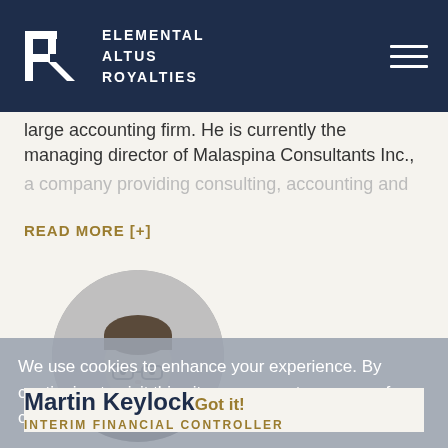ELEMENTAL ALTUS ROYALTIES
large accounting firm. He is currently the managing director of Malaspina Consultants Inc., a company providing consulting, accounting and
READ MORE [+]
[Figure (photo): Black and white circular headshot photo of Martin Keylock, a man wearing glasses and a suit with tie]
We use cookies to enhance your experience. By continuing to visit this site you agree to our use of cookies.
Martin Keylock Got it!
INTERIM FINANCIAL CONTROLLER